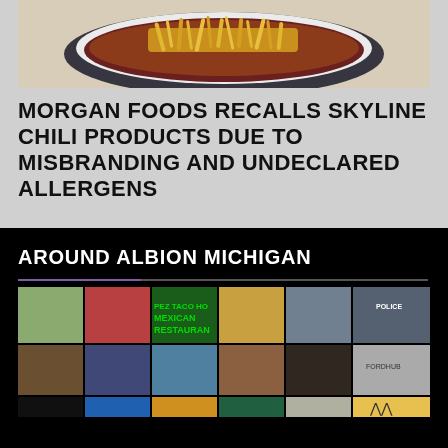[Figure (photo): A bowl of Skyline chili topped with shredded yellow cheese on a white plate with blue rim]
MORGAN FOODS RECALLS SKYLINE CHILI PRODUCTS DUE TO MISBRANDING AND UNDECLARED ALLERGENS
AROUND ALBION MICHIGAN
[Figure (photo): A collage grid of photos showing scenes around Albion Michigan including a Mexican restaurant, workers, streets, buildings, and community events]